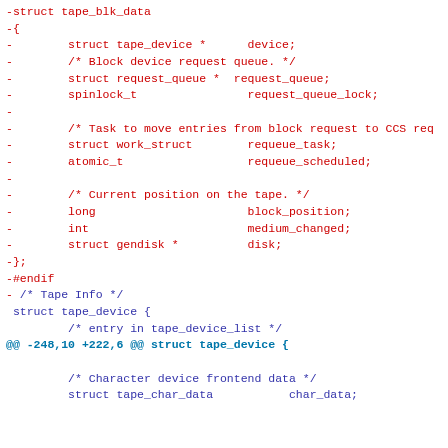Diff/patch code fragment showing removal of tape_blk_data struct and context lines for tape_device struct